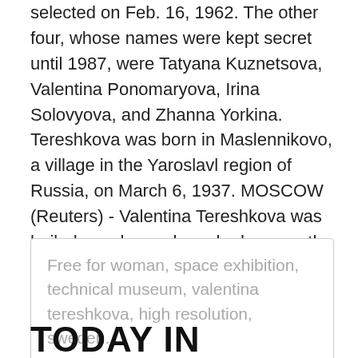selected on Feb. 16, 1962. The other four, whose names were kept secret until 1987, were Tatyana Kuznetsova, Valentina Ponomaryova, Irina Solovyova, and Zhanna Yorkina. Tereshkova was born in Maslennikovo, a village in the Yaroslavl region of Russia, on March 6, 1937. MOSCOW (Reuters) - Valentina Tereshkova was hailed as a hero when she became the first woman in space in 1963.
Free for woman, space exhibition, technical museum, valentina tereshkova, high resolution, sweden.
TODAY IN HISTORY: